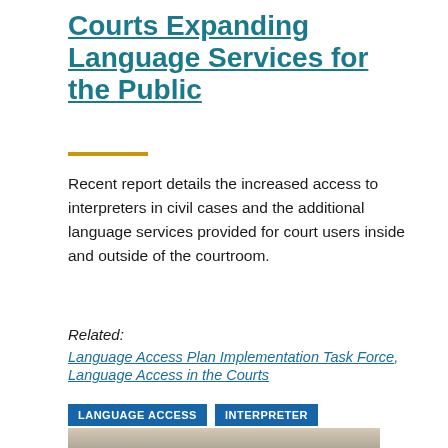Courts Expanding Language Services for the Public
Recent report details the increased access to interpreters in civil cases and the additional language services provided for court users inside and outside of the courtroom.
Related: Language Access Plan Implementation Task Force, Language Access in the Courts
LANGUAGE ACCESS
INTERPRETER
[Figure (photo): Photo of three people, likely in a courthouse or office setting, looking at documents together]